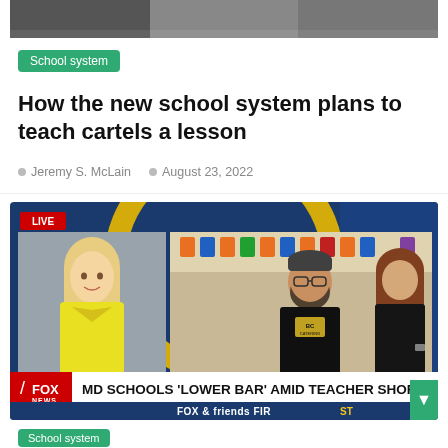[Figure (photo): Top portion of an image, partially cropped at top of page]
School system
How the new school system plans to teach cartels a lesson
Jeremy S. McLain   August 23, 2022
[Figure (screenshot): Fox News screenshot showing a live TV segment with anchor in yellow dress on left, two guests (man in black catering t-shirt and woman) on right. Bottom banner reads: MD SCHOOLS 'LOWER BAR' AMID TEACHER SHORTAGE. FOX & friends FIRST.]
School system tag at bottom